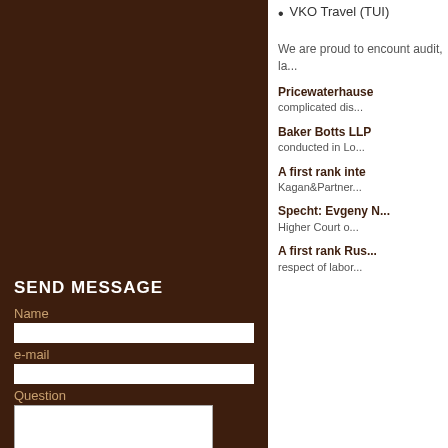VKO Travel (TUI)
We are proud to encount audit, la...
Pricewaterhause... complicated dis...
Baker Botts LLP... conducted in Lo...
A first rank inte... Kagan&Partner...
Specht: Evgeny N... Higher Court o...
A first rank Rus... respect of labor...
SEND MESSAGE
Name
e-mail
Question